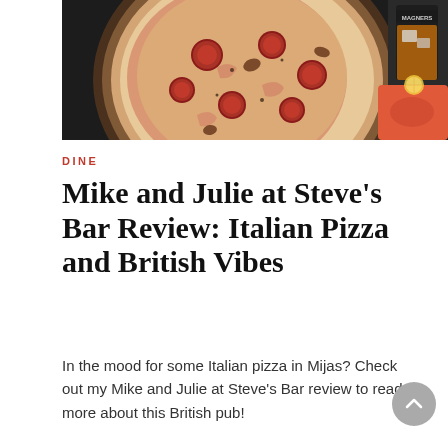[Figure (photo): Top-down photo of a pepperoni and meat pizza with charred crust on a white plate, alongside a glass drink with ice and a red coaster on a dark background]
DINE
Mike and Julie at Steve’s Bar Review: Italian Pizza and British Vibes
In the mood for some Italian pizza in Mijas? Check out my Mike and Julie at Steve’s Bar review to read more about this British pub!